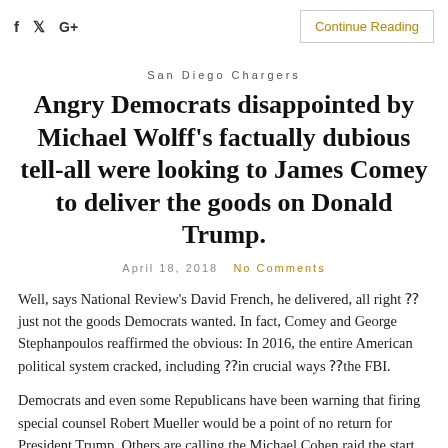f  🐦  G+    Continue Reading
San Diego Chargers
Angry Democrats disappointed by Michael Wolff's factually dubious tell-all were looking to James Comey to deliver the goods on Donald Trump.
April 18, 2018   No Comments
Well, says National Review's David French, he delivered, all right ??just not the goods Democrats wanted. In fact, Comey and George Stephanpoulos reaffirmed the obvious: In 2016, the entire American political system cracked, including ??in crucial ways ??the FBI.
Democrats and even some Republicans have been warning that firing special counsel Robert Mueller would be a point of no return for President Trump. Others are calling the Michael Cohen raid the start of his presidency's end. But Jim Newell at Slate notes that what these predictions rather conspicuously lack is any attempt to explain precisely the mechanism that would let Trump defend and the whole chain...